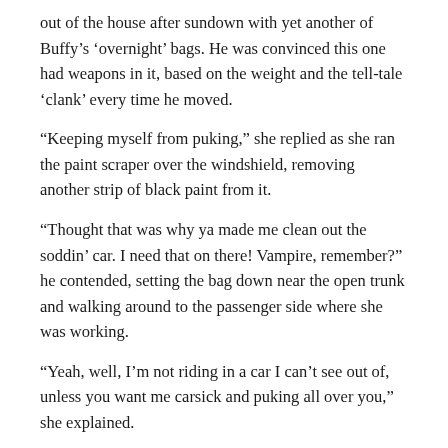out of the house after sundown with yet another of Buffy's 'overnight' bags. He was convinced this one had weapons in it, based on the weight and the tell-tale 'clank' every time he moved.
“Keeping myself from puking,” she replied as she ran the paint scraper over the windshield, removing another strip of black paint from it.
“Thought that was why ya made me clean out the soddin’ car. I need that on there! Vampire, remember?” he contended, setting the bag down near the open trunk and walking around to the passenger side where she was working.
“Yeah, well, I’m not riding in a car I can’t see out of, unless you want me carsick and puking all over you,” she explained.
“Anyone tell you what a royal pain in the arse you are?” Spike huffed, hands on hips as he watched her remove more of his ‘sunblock’.
“To my face? None that lived t’ tell about it. Anyone tell you what a big baby you are?” she wondered.
“None that lived t’ tell about it,” he countered. “Can only travel at night